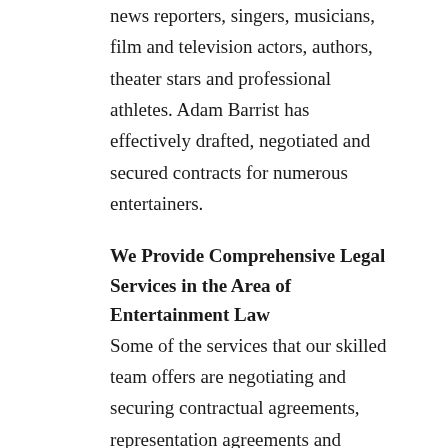news reporters, singers, musicians, film and television actors, authors, theater stars and professional athletes. Adam Barrist has effectively drafted, negotiated and secured contracts for numerous entertainers.
We Provide Comprehensive Legal Services in the Area of Entertainment Law
Some of the services that our skilled team offers are negotiating and securing contractual agreements, representation agreements and endorsement arrangements. We pride ourselves on looking at the fine print on all documents in order to protect our clients' rights. Most celebrities are concerned about their privacy rights as reporters, fans or photographers continually try to pry into the lives of famous people. We can assist celebrities with their